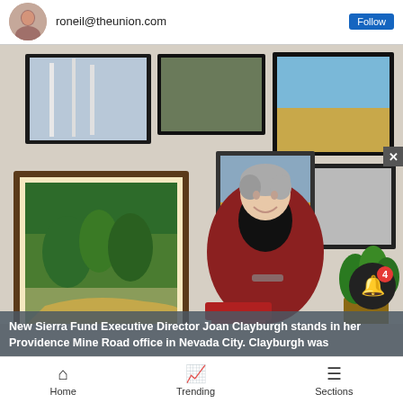roneil@theunion.com
[Figure (photo): New Sierra Fund Executive Director Joan Clayburgh stands in her Providence Mine Road office in Nevada City, smiling, wearing a red blazer and black turtleneck, surrounded by framed landscape paintings and photographs on office walls.]
New Sierra Fund Executive Director Joan Clayburgh stands in her Providence Mine Road office in Nevada City. Clayburgh was
Home  Trending  Sections